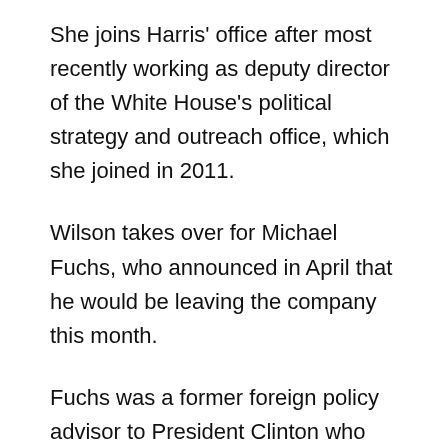She joins Harris' office after most recently working as deputy director of the White House's political strategy and outreach office, which she joined in 2011.
Wilson takes over for Michael Fuchs, who announced in April that he would be leaving the company this month.
Fuchs was a former foreign policy advisor to President Clinton who went on to hold prominent positions at the State Department under the administration of President Barack Obama.